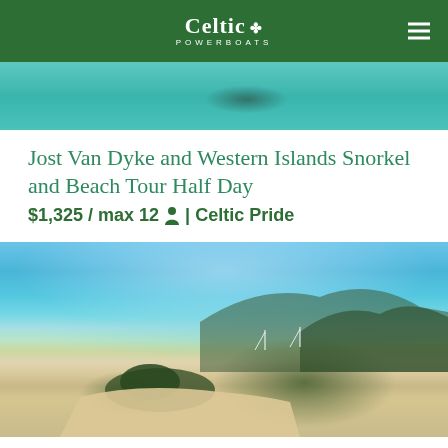Celtic Powerboats
[Figure (photo): Aerial photo of a boat on turquoise water, partially cropped at top]
Jost Van Dyke and Western Islands Snorkel and Beach Tour Half Day
$1,325 / max 12 person-icon | Celtic Pride
[Figure (photo): Aerial photo of a sandy beach with turquoise water, sailing boats anchored nearby, green hills in background, small rocky island with trees in foreground]